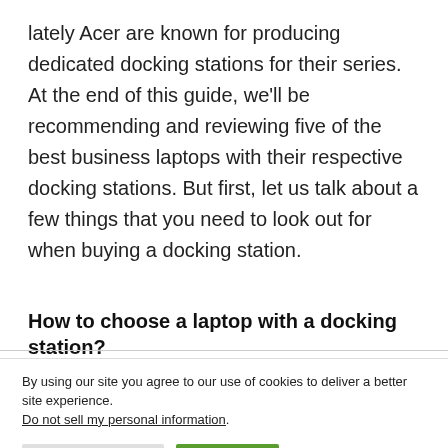lately Acer are known for producing dedicated docking stations for their series. At the end of this guide, we'll be recommending and reviewing five of the best business laptops with their respective docking stations. But first, let us talk about a few things that you need to look out for when buying a docking station.
How to choose a laptop with a docking station?
By using our site you agree to our use of cookies to deliver a better site experience. Do not sell my personal information.